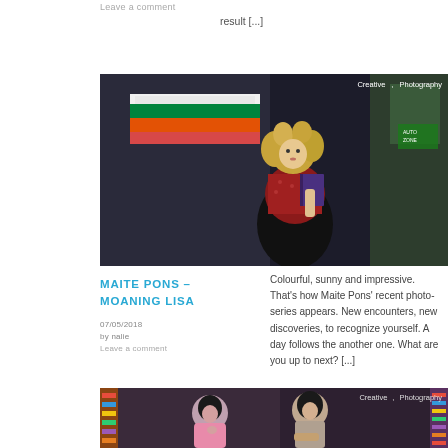Leave a comment
result [...]
[Figure (photo): Woman with curly blonde hair standing in front of a 7-Eleven store, holding a purple book/folder, wearing a red patterned outfit. Tags: Creative, Photography.]
MAITE PONS – MOANING LISA
07/05/2018
by nalie
Leave a comment
Colourful, sunny and impressive. That's how Maite Pons' recent photo-series appears. New encounters, new discoveries, to recognize yourself. A day follows the another one. What are you up to next? [...]
[Figure (photo): Two young women sitting close together, one in pink, one in a light-colored top, in a dim setting. Tags: Creative, Photography.]